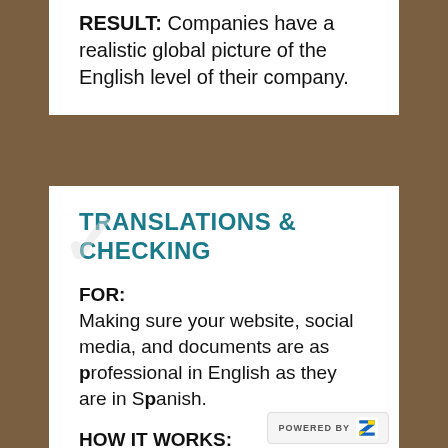RESULT: Companies have a realistic global picture of the English level of their company.
TRANSLATIONS & CHECKING
FOR:
Making sure your website, social media, and documents are as professional in English as they are in Spanish.
HOW IT WORKS: